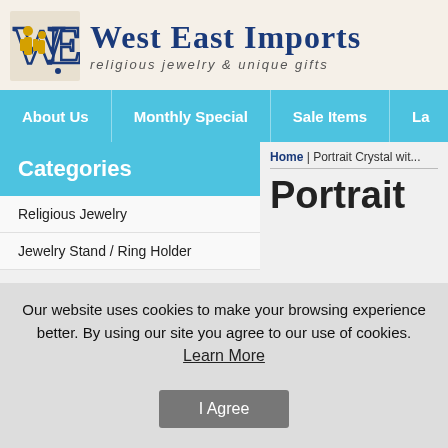[Figure (logo): West East Imports logo with stylized figures in blue and gold, company name in large blue serif text, tagline 'religious jewelry & unique gifts' in smaller italic text]
About Us | Monthly Special | Sale Items | La...
Categories
Home | Portrait Crystal wit...
Portrait
Religious Jewelry
Jewelry Stand / Ring Holder
Our website uses cookies to make your browsing experience better. By using our site you agree to our use of cookies.
Learn More
I Agree